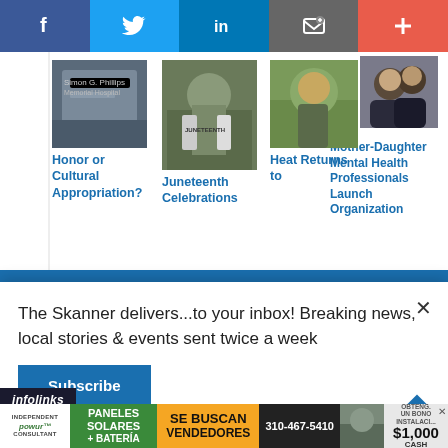[Figure (screenshot): Social media sharing toolbar with Facebook, Twitter, LinkedIn, email/bookmark, and plus buttons]
[Figure (photo): Small thumbnail of a building - Honor or Cultural Appropriation article]
Honor or Cultural Appropriation?
[Figure (photo): Small thumbnail of Juneteenth Celebrations protesters with signs]
Juneteenth Celebrations
[Figure (photo): Small thumbnail of a person for Heat Returns to article]
Heat Returns to
[Figure (photo): Mother-Daughter photo at top right]
Mother-Daughter Mental Health Professionals Launch Organization
The Skanner delivers...to your inbox! Breaking news, local stories & events sent twice a week
Subscribe
infolinks
McAlister's On-The-Go
McAlister's Deli
[Figure (infographic): Solar panel advertisement: PANELES SOLARES + BATERIA, SE BUSCAN VENDEDORES, 310-467-5410, $1,000 CASH bonus, Independent Powur Consultant]